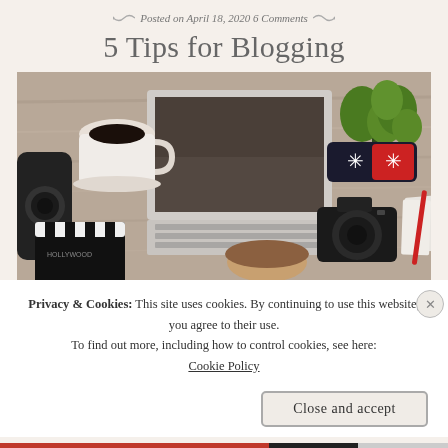Posted on April 18, 2020 6 Comments
5 Tips for Blogging
[Figure (photo): Overhead view of a person working at a laptop on a wooden desk, surrounded by a coffee cup, camera lens, clapperboard, DSLR camera, plant, pencil case, and papers]
Privacy & Cookies: This site uses cookies. By continuing to use this website, you agree to their use. To find out more, including how to control cookies, see here: Cookie Policy
Close and accept